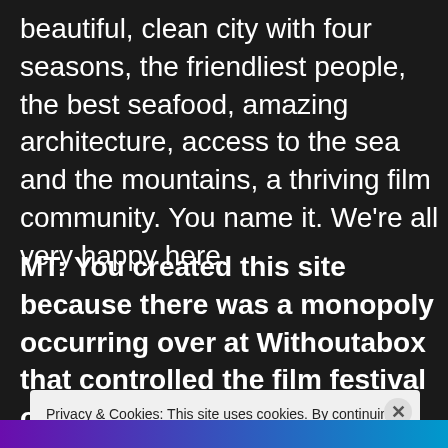beautiful, clean city with four seasons, the friendliest people, the best seafood, amazing architecture, access to the sea and the mountains, a thriving film community. You name it. We're all very happy here.
MT: You created this site because there was a monopoly occurring over at Withoutabox that controlled the film festival online
Privacy & Cookies: This site uses cookies. By continuing to use this website, you agree to their use.
To find out more, including how to control cookies, see here: Cookie Policy
Close and accept